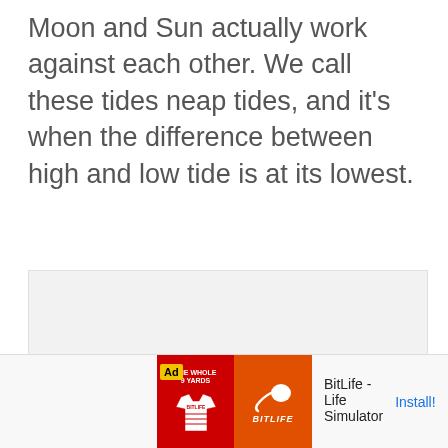Moon and Sun actually work against each other. We call these tides neap tides, and it's when the difference between high and low tide is at its lowest.
[Figure (other): Large light gray placeholder rectangle representing an image or content area]
[Figure (screenshot): Advertisement banner for BitLife - Life Simulator app. Shows 'Ad' label, two app icon panels (red soccer jersey on left, orange with sperm icon and BitLife text on right), app name 'BitLife - Life Simulator', and an 'Install!' link.]